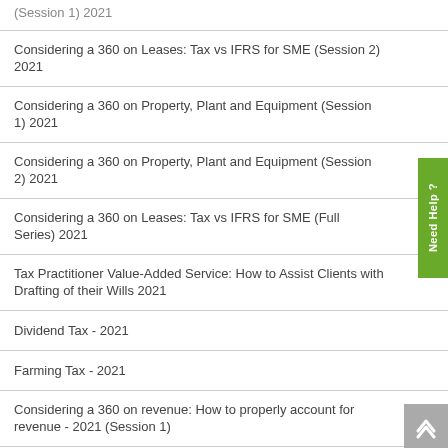| Course | Credits |
| --- | --- |
| (Session 1) 2021 |  |
| Considering a 360 on Leases: Tax vs IFRS for SME (Session 2) 2021 | 2 |
| Considering a 360 on Property, Plant and Equipment (Session 1) 2021 | 2 |
| Considering a 360 on Property, Plant and Equipment (Session 2) 2021 | 2 |
| Considering a 360 on Leases: Tax vs IFRS for SME (Full Series) 2021 | 2 |
| Tax Practitioner Value-Added Service: How to Assist Clients with Drafting of their Wills 2021 | 2 |
| Dividend Tax - 2021 | 2 |
| Farming Tax - 2021 | 2 |
| Considering a 360 on revenue: How to properly account for revenue - 2021 (Session 1) | 2 |
| Considering a 360 on revenue: How to properly account for revenue - ... | 2 |